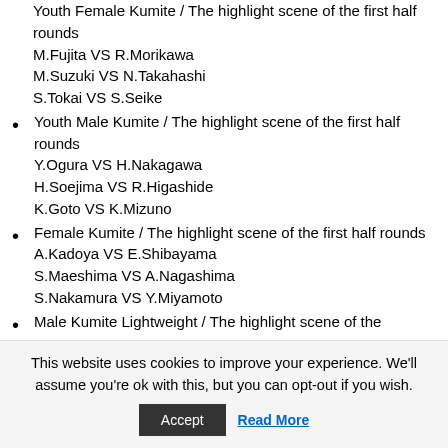Youth Female Kumite / The highlight scene of the first half rounds
M.Fujita VS R.Morikawa
M.Suzuki VS N.Takahashi
S.Tokai VS S.Seike
Youth Male Kumite / The highlight scene of the first half rounds
Y.Ogura VS H.Nakagawa
H.Soejima VS R.Higashide
K.Goto VS K.Mizuno
Female Kumite / The highlight scene of the first half rounds
A.Kadoya VS E.Shibayama
S.Maeshima VS A.Nagashima
S.Nakamura VS Y.Miyamoto
Male Kumite Lightweight / The highlight scene of the
This website uses cookies to improve your experience. We'll assume you're ok with this, but you can opt-out if you wish.
Accept | Read More